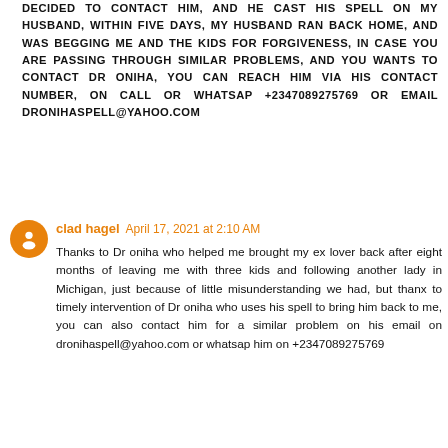DECIDED TO CONTACT HIM, AND HE CAST HIS SPELL ON MY HUSBAND, WITHIN FIVE DAYS, MY HUSBAND RAN BACK HOME, AND WAS BEGGING ME AND THE KIDS FOR FORGIVENESS, IN CASE YOU ARE PASSING THROUGH SIMILAR PROBLEMS, AND YOU WANTS TO CONTACT DR ONIHA, YOU CAN REACH HIM VIA HIS CONTACT NUMBER, ON CALL OR WHATSAP +2347089275769 OR EMAIL DRONIHASPELL@YAHOO.COM
clad hagel April 17, 2021 at 2:10 AM
Thanks to Dr oniha who helped me brought my ex lover back after eight months of leaving me with three kids and following another lady in Michigan, just because of little misunderstanding we had, but thanx to timely intervention of Dr oniha who uses his spell to bring him back to me, you can also contact him for a similar problem on his email on dronihaspell@yahoo.com or whatsap him on +2347089275769